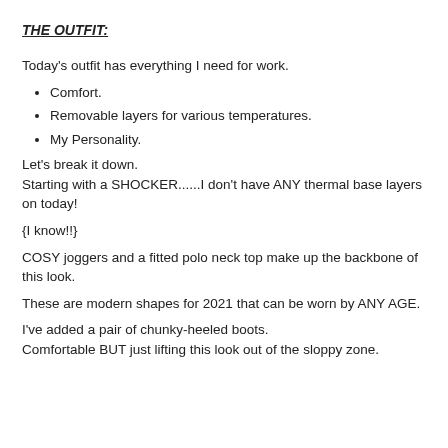THE OUTFIT:
Today's outfit has everything I need for work.
Comfort.
Removable layers for various temperatures.
My Personality.
Let's break it down.
Starting with a SHOCKER......I don't have ANY thermal base layers on today!
{I know!!}
COSY joggers and a fitted polo neck top make up the backbone of this look.
These are modern shapes for 2021 that can be worn by ANY AGE.
I've added a pair of chunky-heeled boots.
Comfortable BUT just lifting this look out of the sloppy zone.